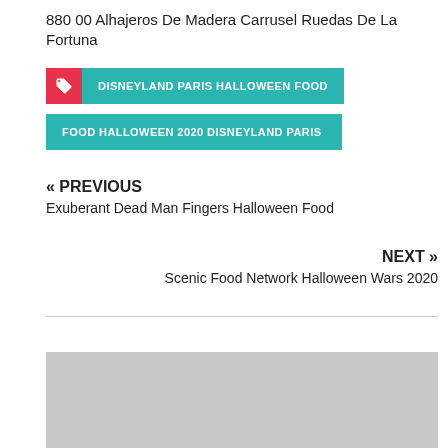880 00 Alhajeros De Madera Carrusel Ruedas De La Fortuna
DISNEYLAND PARIS HALLOWEEN FOOD
FOOD HALLOWEEN 2020 DISNEYLAND PARIS
« PREVIOUS
Exuberant Dead Man Fingers Halloween Food
NEXT »
Scenic Food Network Halloween Wars 2020
[Figure (other): Gray placeholder image block at the bottom of the page]